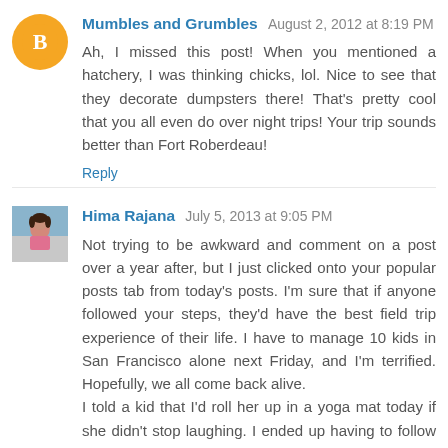[Figure (illustration): Blogger default avatar icon — orange circle with white 'B' letter logo]
Mumbles and Grumbles August 2, 2012 at 8:19 PM
Ah, I missed this post! When you mentioned a hatchery, I was thinking chicks, lol. Nice to see that they decorate dumpsters there! That's pretty cool that you all even do over night trips! Your trip sounds better than Fort Roberdeau!
Reply
[Figure (photo): Profile photo of Hima Rajana — woman in pink top outdoors]
Hima Rajana July 5, 2013 at 9:05 PM
Not trying to be awkward and comment on a post over a year after, but I just clicked onto your popular posts tab from today's posts. I'm sure that if anyone followed your steps, they'd have the best field trip experience of their life. I have to manage 10 kids in San Francisco alone next Friday, and I'm terrified. Hopefully, we all come back alive. I told a kid that I'd roll her up in a yoga mat today if she didn't stop laughing. I ended up having to follow through.
Reply